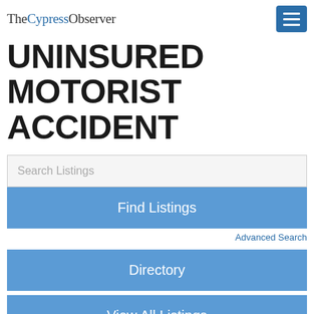TheCypressObserver
UNINSURED MOTORIST ACCIDENT
Search Listings
Find Listings
Advanced Search
Directory
View All Listings
Add Listing
Displaying listings from all locations